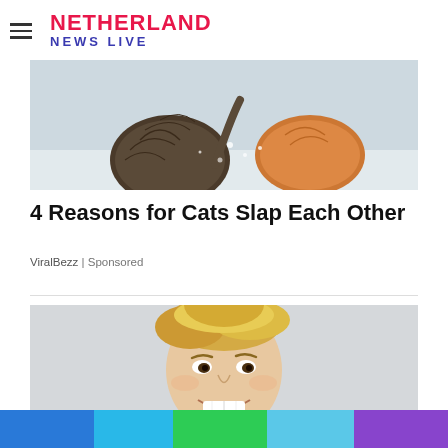NETHERLAND NEWS LIVE
[Figure (photo): Two cats appearing to fight or slap each other in the snow]
4 Reasons for Cats Slap Each Other
ViralBezz | Sponsored
[Figure (photo): Smiling young man with blonde styled hair against a light background]
[Figure (other): Bottom color bar with blue, cyan, green, light blue, and purple segments]